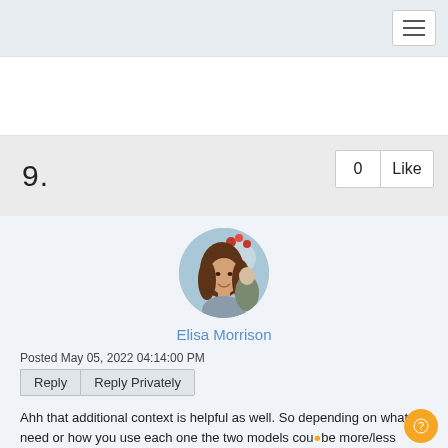Navigation bar with hamburger menu
[Figure (other): Banner/advertisement area]
9.
[Figure (photo): Circular profile photo of Elisa Morrison, a woman with long brown hair smiling outdoors with flowers and water in background]
Elisa Morrison
Posted May 05, 2022 04:14:00 PM
Reply   Reply Privately
Ahh that additional context is helpful as well. So depending on what you need or how you use each one the two models cou be more/less expensive.